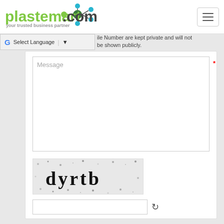[Figure (logo): plastemart.com logo with green molecular/network graphic and tagline 'your trusted business partner']
Select Language
ile Number are kept private and will not be shown publicly.
Message
[Figure (other): CAPTCHA image showing the text 'dyrtb' on a noisy/textured background]
(CAPTCHA input field with refresh icon)